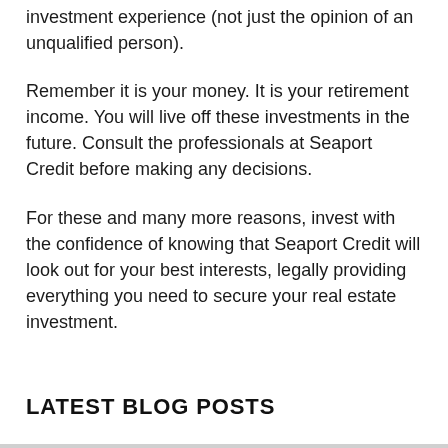investment experience (not just the opinion of an unqualified person).
Remember it is your money. It is your retirement income. You will live off these investments in the future. Consult the professionals at Seaport Credit before making any decisions.
For these and many more reasons, invest with the confidence of knowing that Seaport Credit will look out for your best interests, legally providing everything you need to secure your real estate investment.
LATEST BLOG POSTS